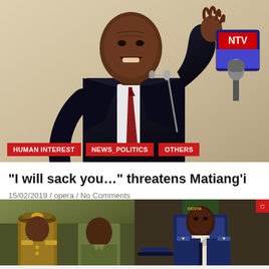[Figure (photo): A man in a dark suit with one hand raised, speaking at a podium with microphones visible including an NTV microphone cube, against a beige background.]
HUMAN INTEREST
NEWS_POLITICS
OTHERS
“I will sack you…” threatens Matiang’i
15/02/2019 / opera / No Comments
Narok North births and deaths registration office came to a standstill today as Interior Cabinet Secretary…
[Figure (photo): Two police officers in uniform, left photo shows officers in military-style khaki uniform with cap, right photo shows officer in blue uniform.]